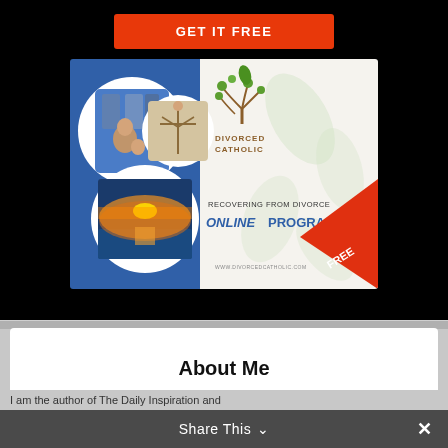[Figure (other): Orange/red button labeled GET IT FREE on a black background]
[Figure (illustration): Advertisement for 'Divorced Catholic' - Recovering From Divorce Online Program, showing religious images (Madonna with child, risen Christ, sunset over ocean) and a tree logo with green leaf, with a red FREE banner in the corner and website www.divorcedcatholic.com]
About Me
Share This ∨  ✕
I am the author of The Daily Inspiration and...